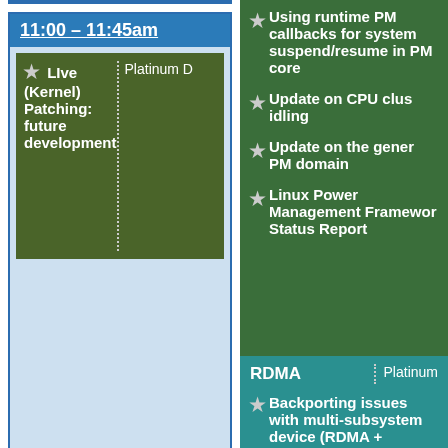[empty blue box, cropped from above]
11:00 – 11:45am
Live (Kernel) Patching: future development | Platinum D
Using runtime PM callbacks for system suspend/resume in PM core
Update on CPU cluster idling
Update on the generic PM domain
Linux Power Management Framework Status Report
RDMA | Platinum
Backporting issues with multi-subsystem device (RDMA + netdev…